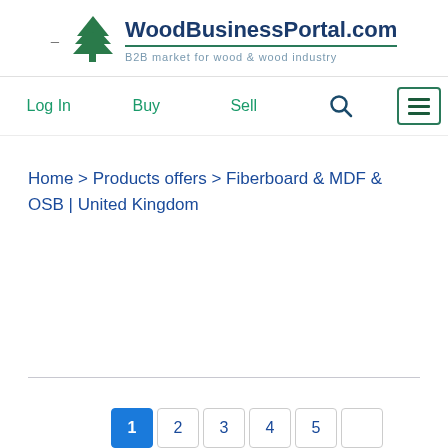WoodBusinessPortal.com — B2B market for wood & wood industry
Log In   Buy   Sell   [Search] [Menu]
Home > Products offers > Fiberboard & MDF & OSB | United Kingdom
Pagination: 1 2 3 4 5 ...